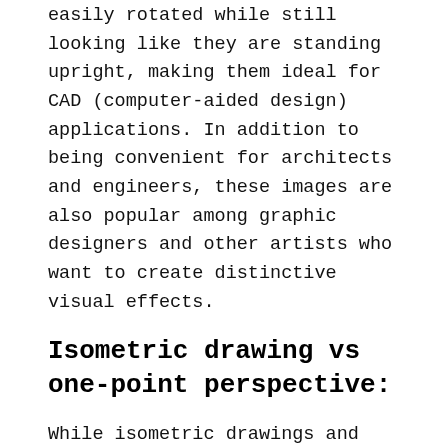easily rotated while still looking like they are standing upright, making them ideal for CAD (computer-aided design) applications. In addition to being convenient for architects and engineers, these images are also popular among graphic designers and other artists who want to create distinctive visual effects.
Isometric drawing vs one-point perspective:
While isometric drawings and one-point perspective are both methods of depicting three-dimensional objects, they differ in several key ways. One-point perspective typically uses vanishing points to create a sense of distance, whereas isometric drawings use parallel lines to give the viewer an accurate representation of the object's shape and size. Additionally, while one-point perspective images often